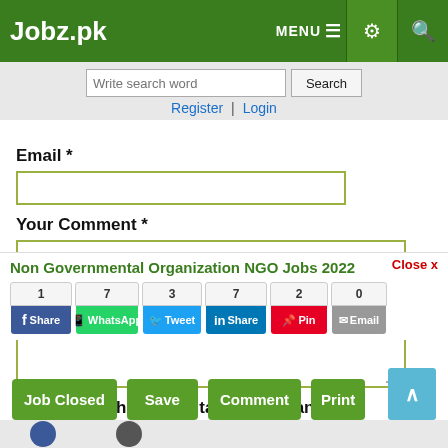Jobz.pk — MENU ☰ ⚙ 🔍
Write search word | Search
Register | Login
Email *
Your Comment *
Question: What is capital of Pakistan?
Close x
Non Governmental Organization NGO Jobs 2022
Share counts: 1, 7, 3, 7, 2, 0
Share buttons: Share (Facebook), WhatsApp, Tweet, Share (LinkedIn), Pin, Email
Job Closed | Save | Comment | Print